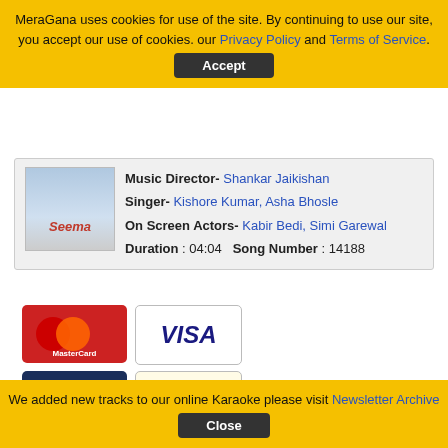MeraGana uses cookies for use of the site. By continuing to use our site, you accept our use of cookies. our Privacy Policy and Terms of Service. [Accept]
Music Director- Shankar Jaikishan
Singer- Kishore Kumar, Asha Bhosle
On Screen Actors- Kabir Bedi, Simi Garewal
Duration : 04:04   Song Number : 14188
[Figure (logo): MasterCard logo]
[Figure (logo): VISA logo]
[Figure (logo): 2CO logo]
[Figure (logo): PayPal logo]
Terms of Service | Privacy Policy| Newsletter Archive
If you believe that any material held in by us infringes your copyright please follow the guidance in our Notice and Take Down policy.
We added new tracks to our online Karaoke please visit Newsletter Archive [Close]